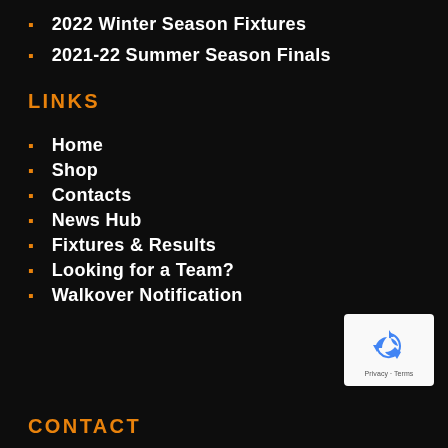2022 Winter Season Fixtures
2021-22 Summer Season Finals
LINKS
Home
Shop
Contacts
News Hub
Fixtures & Results
Looking for a Team?
Walkover Notification
[Figure (logo): reCAPTCHA badge with recycling arrow icon and Privacy - Terms text]
CONTACT